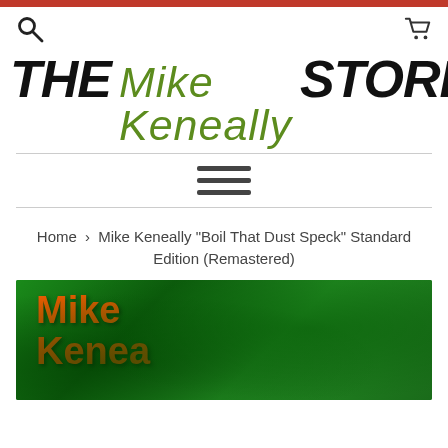[Figure (logo): The Mike Keneally Store logo with 'THE' and 'STORE' in bold black italic, 'MIKE KENEALLY' in handwritten green script]
[Figure (other): Hamburger menu icon with three horizontal bars]
Home › Mike Keneally "Boil That Dust Speck" Standard Edition (Remastered)
[Figure (photo): Album cover showing green glowing background with orange handwritten 'Mike Keneally' text]